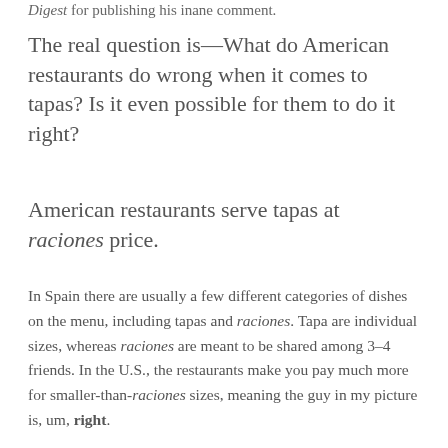Digest for publishing his inane comment.
The real question is—What do American restaurants do wrong when it comes to tapas? Is it even possible for them to do it right?
American restaurants serve tapas at raciones price.
In Spain there are usually a few different categories of dishes on the menu, including tapas and raciones. Tapa are individual sizes, whereas raciones are meant to be shared among 3–4 friends. In the U.S., the restaurants make you pay much more for smaller-than-raciones sizes, meaning the guy in my picture is, um, right.